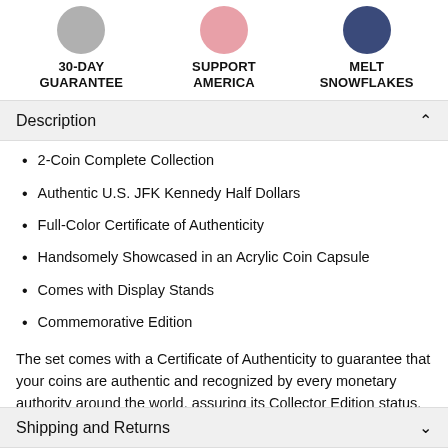[Figure (illustration): Three circular badge icons: gray circle (30-Day Guarantee), pink circle (Support America), navy circle (Melt Snowflakes)]
Description
2-Coin Complete Collection
Authentic U.S. JFK Kennedy Half Dollars
Full-Color Certificate of Authenticity
Handsomely Showcased in an Acrylic Coin Capsule
Comes with Display Stands
Commemorative Edition
The set comes with a Certificate of Authenticity to guarantee that your coins are authentic and recognized by every monetary authority around the world, assuring its Collector Edition status. Each coin comes in a premium coin capsule.
Shipping and Returns